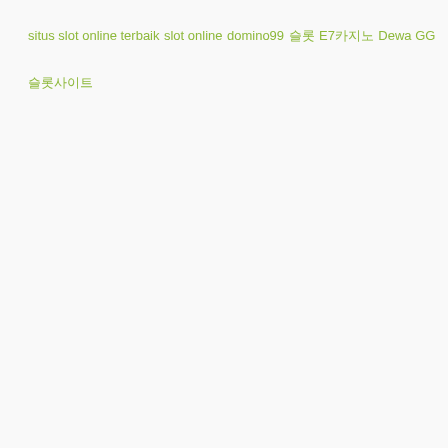situs slot online terbaik
slot online
domino99
슬롯
E7카지노
Dewa GG
슬롯사이트